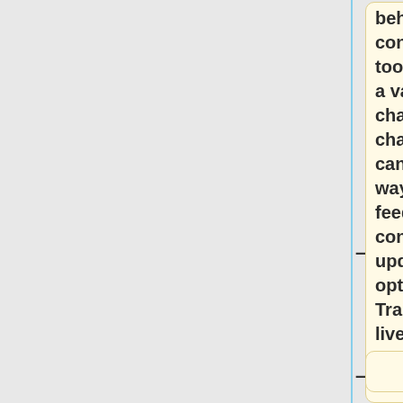behaviour is not consistent between tools. It may be that a value needs to be changed before the change is made on canvas. The other way around the feedback is consistently updated in the tool options. Transformations of live canvas objects are relative, not absolute.